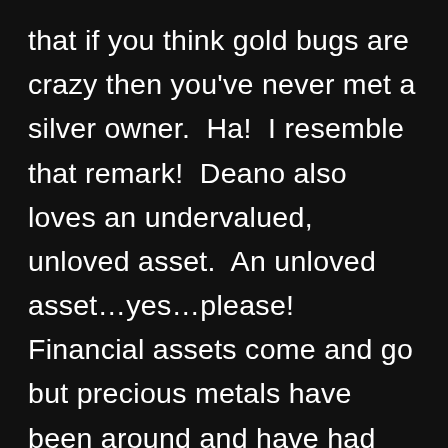that if you think gold bugs are crazy then you've never met a silver owner.  Ha!  I resemble that remark!  Deano also loves an undervalued, unloved asset.  An unloved asset…yes…please!  Financial assets come and go but precious metals have been around and have had value for thousands of years (and likely for thousands more).  They are immutable unlike